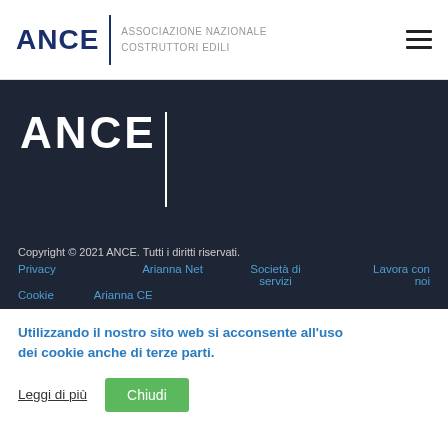[Figure (logo): ANCE logo with bold dark blue text 'ANCE', vertical divider, and text 'ASSOCIAZIONE NAZIONALE COSTRUTTORI EDILI' in grey]
[Figure (illustration): Hamburger menu icon (three horizontal lines) in top right corner]
[Figure (logo): Dark background banner with large white 'ANCE' text and white vertical bar]
Copyright © 2021 ANCE. Tutti i diritti riservati.
Privacy    Arianna Net  Società di servizi   Lavora con noi
Cookie     Arianna CE
Utilizzando il nostro sito web si acconsente all'uso dei cookie anche di terze parti.
Leggi di più
Chiudi